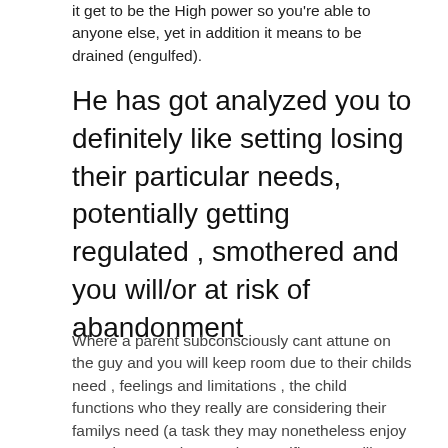it get to be the High power so you're able to anyone else, yet in addition it means to be drained (engulfed).
He has got analyzed you to definitely like setting losing their particular needs, potentially getting regulated , smothered and you will/or at risk of abandonment
Where a parent subconsciously cant attune on the guy and you will keep room due to their childs need , feelings and limitations , the child functions who they really are considering their familys need (a task they may nonetheless enjoy away because the people, specific even still-living home for some time), and that i nternalises the brand new fault of this youngsters emotional otherwise bodily abandonment . People in this situation learn that how to score their demands satisfied by its mother will be to become they dont have any . Trying to passion once they had been terrified